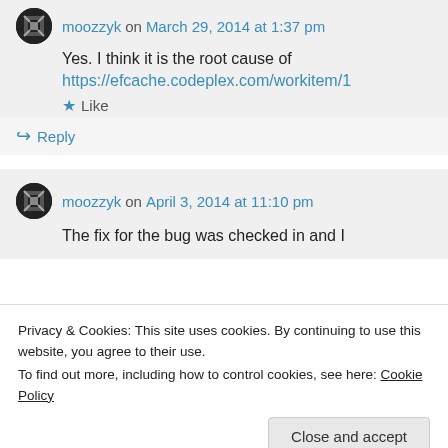moozzyk on March 29, 2014 at 1:37 pm
Yes. I think it is the root cause of
https://efcache.codeplex.com/workitem/1
Like
Reply
moozzyk on April 3, 2014 at 11:10 pm
The fix for the bug was checked in and I
Privacy & Cookies: This site uses cookies. By continuing to use this website, you agree to their use.
To find out more, including how to control cookies, see here: Cookie Policy
Close and accept
Like